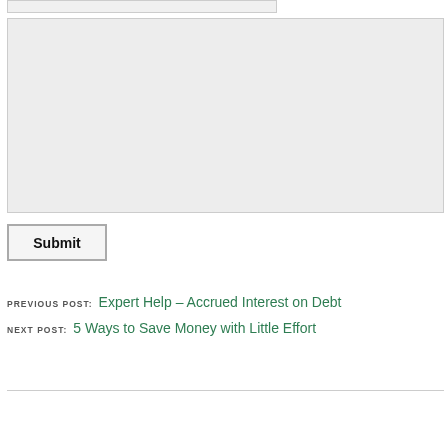[Figure (screenshot): Text input bar (form field, light gray background)]
[Figure (screenshot): Large textarea form field with light gray background]
Submit
PREVIOUS POST: Expert Help – Accrued Interest on Debt
NEXT POST: 5 Ways to Save Money with Little Effort